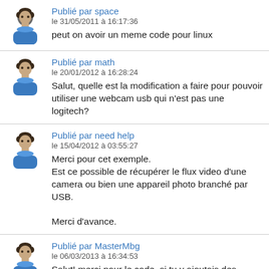Publié par space
le 31/05/2011 à 16:17:36
peut on avoir un meme code pour linux
Publié par math
le 20/01/2012 à 16:28:24
Salut, quelle est la modification a faire pour pouvoir utiliser une webcam usb qui n'est pas une logitech?
Publié par need help
le 15/04/2012 à 03:55:27
Merci pour cet exemple.
Est ce possible de récupérer le flux video d'une camera ou bien une appareil photo branché par USB.

Merci d'avance.
Publié par MasterMbg
le 06/03/2013 à 16:34:53
Salut! merci pour le code, si tu y ajoutais des commentaires avant chaque module ce serait